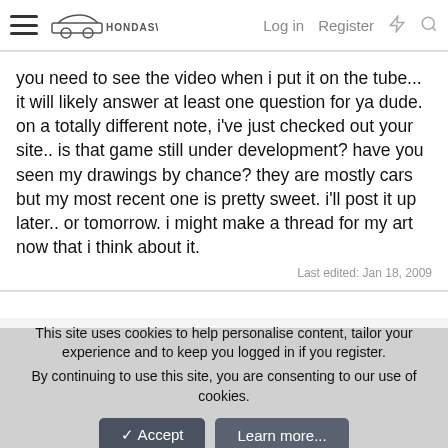HondaSwap — Log in  Register
you need to see the video when i put it on the tube... it will likely answer at least one question for ya dude. on a totally different note, i've just checked out your site.. is that game still under development? have you seen my drawings by chance? they are mostly cars but my most recent one is pretty sweet. i'll post it up later.. or tomorrow. i might make a thread for my art now that i think about it.
Last edited: Jan 18, 2009
jeffie7
Wrong Whole! VIP
Jan 18, 2009  #18
This site uses cookies to help personalise content, tailor your experience and to keep you logged in if you register.
By continuing to use this site, you are consenting to our use of cookies.